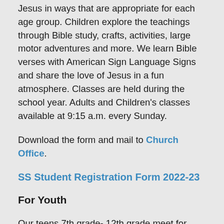Jesus in ways that are appropriate for each age group. Children explore the teachings through Bible study, crafts, activities, large motor adventures and more. We learn Bible verses with American Sign Language Signs and share the love of Jesus in a fun atmosphere. Classes are held during the school year. Adults and Children's classes available at 9:15 a.m. every Sunday.
Download the form and mail to Church Office.
SS Student Registration Form 2022-23
For Youth
Our teens 7th grade- 12th grade meet for Sunday School every other week at 9:15 am in person at church and the opposite Monday evenings for Bible